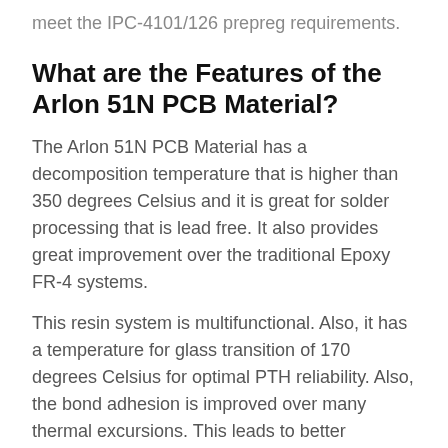meet the IPC-4101/126 prepreg requirements.
What are the Features of the Arlon 51N PCB Material?
The Arlon 51N PCB Material has a decomposition temperature that is higher than 350 degrees Celsius and it is great for solder processing that is lead free. It also provides great improvement over the traditional Epoxy FR-4 systems.
This resin system is multifunctional. Also, it has a temperature for glass transition of 170 degrees Celsius for optimal PTH reliability. Also, the bond adhesion is improved over many thermal excursions. This leads to better reliability via rework and reflow operations.